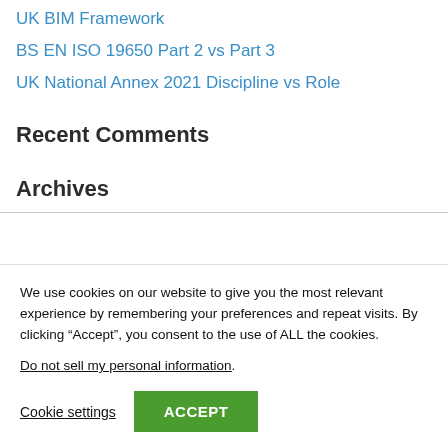UK BIM Framework
BS EN ISO 19650 Part 2 vs Part 3
UK National Annex 2021 Discipline vs Role
Recent Comments
Archives
We use cookies on our website to give you the most relevant experience by remembering your preferences and repeat visits. By clicking “Accept”, you consent to the use of ALL the cookies.
Do not sell my personal information.
Cookie settings  ACCEPT